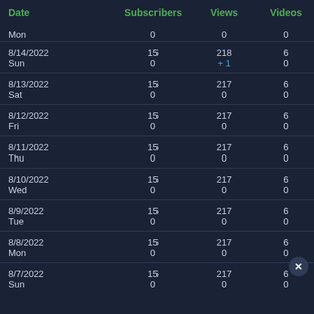| Date | Subscribers | Views | Videos |
| --- | --- | --- | --- |
| Mon | 0 | 0 | 0 |
| 8/14/2022 Sun | 15 0 | 218 +1 | 6 0 |
| 8/13/2022 Sat | 15 0 | 217 0 | 6 0 |
| 8/12/2022 Fri | 15 0 | 217 0 | 6 0 |
| 8/11/2022 Thu | 15 0 | 217 0 | 6 0 |
| 8/10/2022 Wed | 15 0 | 217 0 | 6 0 |
| 8/9/2022 Tue | 15 0 | 217 0 | 6 0 |
| 8/8/2022 Mon | 15 0 | 217 0 | 6 0 |
| 8/7/2022 Sun | 15 0 | 217 0 | 6 0 |